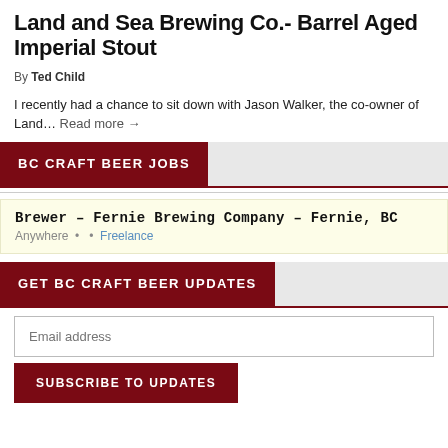Land and Sea Brewing Co.- Barrel Aged Imperial Stout
By Ted Child
I recently had a chance to sit down with Jason Walker, the co-owner of Land… Read more →
BC CRAFT BEER JOBS
Brewer – Fernie Brewing Company – Fernie, BC
Anywhere • • Freelance
GET BC CRAFT BEER UPDATES
Email address
SUBSCRIBE TO UPDATES